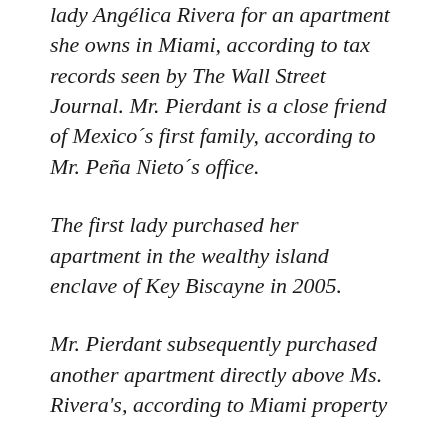lady Angélica Rivera for an apartment she owns in Miami, according to tax records seen by The Wall Street Journal. Mr. Pierdant is a close friend of Mexico´s first family, according to Mr. Peña Nieto´s office.
The first lady purchased her apartment in the wealthy island enclave of Key Biscayne in 2005.
Mr. Pierdant subsequently purchased another apartment directly above Ms. Rivera's, according to Miami property